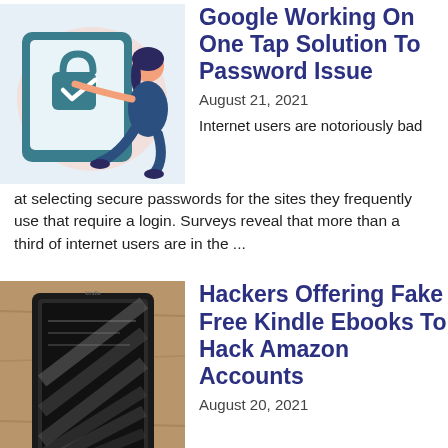[Figure (illustration): Illustration of a woman sitting with a tablet/phone showing a lock icon with a checkmark, pink background circle]
Google Working On One Tap Solution To Password Issue
August 21, 2021
Internet users are notoriously bad at selecting secure passwords for the sites they frequently use that require a login. Surveys reveal that more than a third of internet users are in the ...
[Figure (photo): Photo of a black Amazon Kindle e-reader device on a wooden surface]
Hackers Offering Fake Free Kindle Ebooks To Hack Amazon Accounts
August 20, 2021
Do you own an Amazon Kindle? Amazon has a warning for you if you do. Beware. Hackers are now using poisoned ebooks to delete the contents of infected